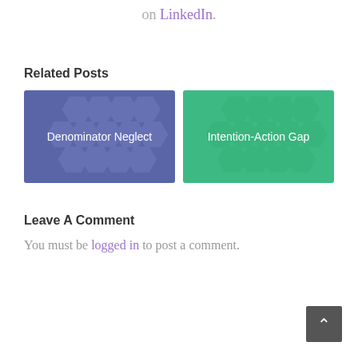on LinkedIn.
Related Posts
[Figure (illustration): Card with blue hexagon pattern background and text 'Denominator Neglect']
[Figure (illustration): Card with green hexagon pattern background and text 'Intention-Action Gap']
Leave A Comment
You must be logged in to post a comment.